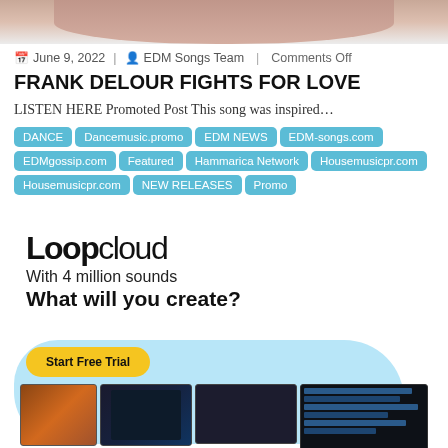[Figure (photo): Cropped photo showing bottom portion of a person's face/neck area at top of page]
June 9, 2022  EDM Songs Team  Comments Off
FRANK DELOUR FIGHTS FOR LOVE
LISTEN HERE Promoted Post This song was inspired…
DANCE
Dancemusic.promo
EDM NEWS
EDM-songs.com
EDMgossip.com
Featured
Hammarica Network
Housemusicpr.com
Housemusicpr.com
NEW RELEASES
Promo
[Figure (illustration): Loopcloud advertisement banner with logo, tagline 'With 4 million sounds What will you create?', Start Free Trial button in yellow, blue blob background, and screenshots of the Loopcloud software interface]